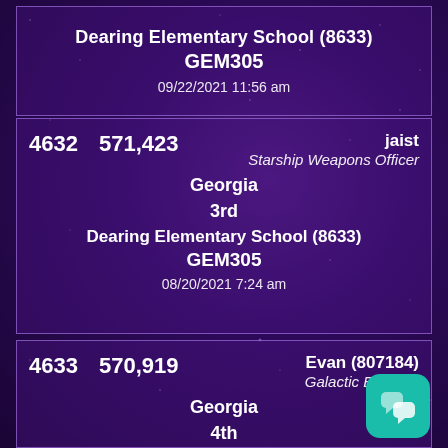Dearing Elementary School (8633)
GEM305
09/22/2021 11:56 am
4632  571,423  jaist  Starship Weapons Officer
Georgia
3rd
Dearing Elementary School (8633)
GEM305
08/20/2021 7:24 am
4633  570,919  Evan (807184)  Galactic Explorer
Georgia
4th
Dearing Elementary School (8633)
GEM305
[Figure (logo): Teal rounded square badge with two chat bubble icons]